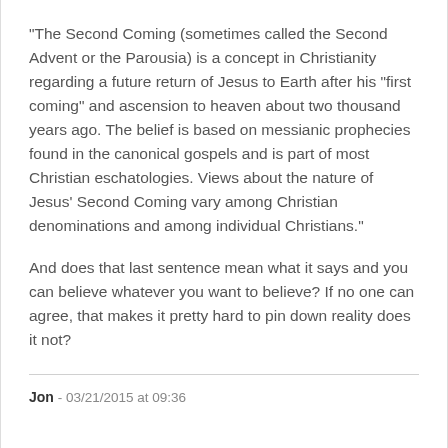"The Second Coming (sometimes called the Second Advent or the Parousia) is a concept in Christianity regarding a future return of Jesus to Earth after his "first coming" and ascension to heaven about two thousand years ago. The belief is based on messianic prophecies found in the canonical gospels and is part of most Christian eschatologies. Views about the nature of Jesus' Second Coming vary among Christian denominations and among individual Christians."
And does that last sentence mean what it says and you can believe whatever you want to believe? If no one can agree, that makes it pretty hard to pin down reality does it not?
Jon - 03/21/2015 at 09:36